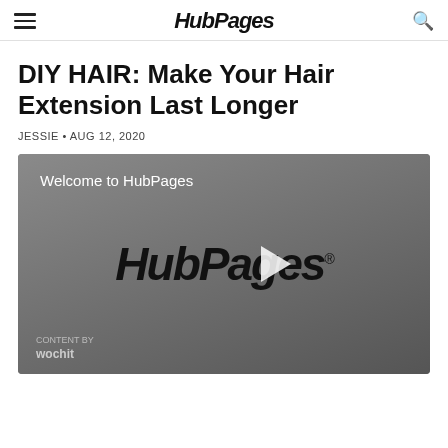HubPages
DIY HAIR: Make Your Hair Extension Last Longer
JESSIE • AUG 12, 2020
[Figure (screenshot): Video thumbnail showing HubPages welcome screen with HubPages logo and play button in center, 'Welcome to HubPages' text at top left, wochit watermark at bottom left.]